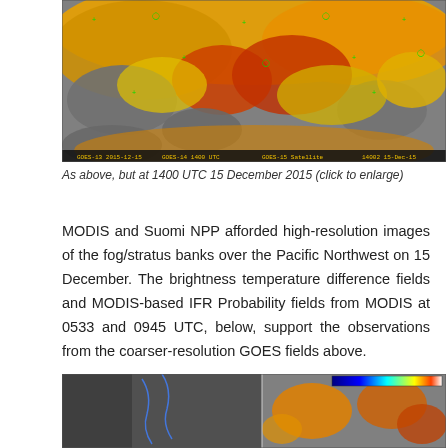[Figure (map): Satellite imagery showing fog/stratus brightness temperature difference field over the Pacific Northwest at 1400 UTC 15 December 2015. Colors range from grey (no cloud/clear) through yellow and orange to red indicating temperature differences. Green markers indicate station locations.]
As above, but at 1400 UTC 15 December 2015 (click to enlarge)
MODIS and Suomi NPP afforded high-resolution images of the fog/stratus banks over the Pacific Northwest on 15 December. The brightness temperature difference fields and MODIS-based IFR Probability fields from MODIS at 0533 and 0945 UTC, below, support the observations from the coarser-resolution GOES fields above.
[Figure (map): Satellite imagery showing MODIS brightness temperature difference and IFR Probability fields over the Pacific Northwest. Left portion shows greyscale imagery, right portion shows color-coded temperature/probability fields with a color bar in upper right corner.]